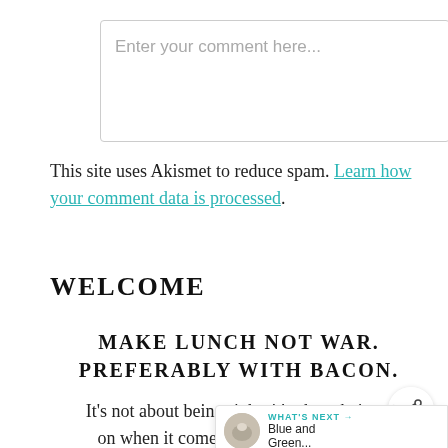[Figure (screenshot): Comment text input box with placeholder text 'Enter your comment here...']
This site uses Akismet to reduce spam. Learn how your comment data is processed.
WELCOME
MAKE LUNCH NOT WAR. PREFERABLY WITH BACON.
It's not about being right; it's about being right on when it comes to those foods you think miss most when you change your... Think you'll never again savor a gourmet